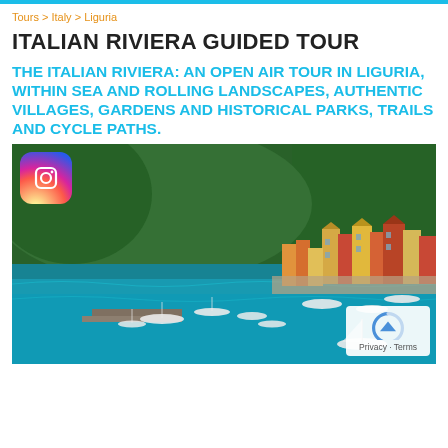Tours > Italy > Liguria
ITALIAN RIVIERA GUIDED TOUR
THE ITALIAN RIVIERA: AN OPEN AIR TOUR IN LIGURIA, WITHIN SEA AND ROLLING LANDSCAPES, AUTHENTIC VILLAGES, GARDENS AND HISTORICAL PARKS, TRAILS AND CYCLE PATHS.
[Figure (photo): Aerial view of Portofino harbor with colorful buildings along the waterfront, turquoise water with boats, surrounded by lush green hillside.]